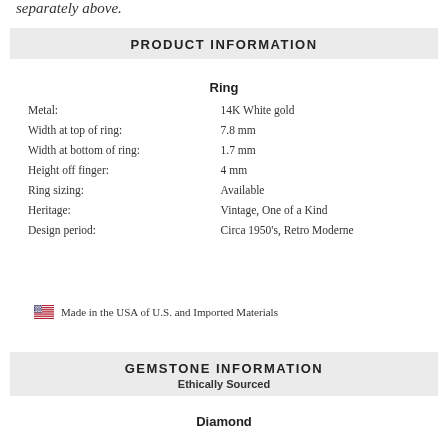separately above.
PRODUCT INFORMATION
Ring
| Property | Value |
| --- | --- |
| Metal: | 14K White gold |
| Width at top of ring: | 7.8 mm |
| Width at bottom of ring: | 1.7 mm |
| Height off finger: | 4 mm |
| Ring sizing: | Available |
| Heritage: | Vintage, One of a Kind |
| Design period: | Circa 1950's, Retro Moderne |
Made in the USA of U.S. and Imported Materials
GEMSTONE INFORMATION
Ethically Sourced
Diamond